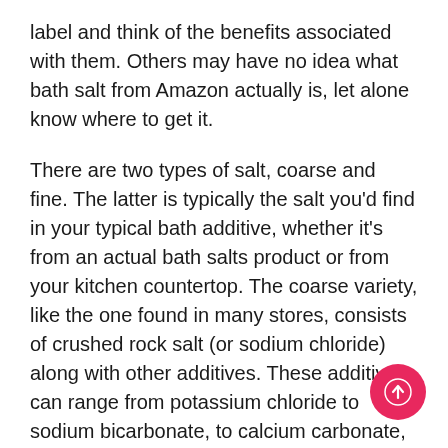label and think of the benefits associated with them. Others may have no idea what bath salt from Amazon actually is, let alone know where to get it.
There are two types of salt, coarse and fine. The latter is typically the salt you'd find in your typical bath additive, whether it's from an actual bath salts product or from your kitchen countertop. The coarse variety, like the one found in many stores, consists of crushed rock salt (or sodium chloride) along with other additives. These additives can range from potassium chloride to sodium bicarbonate, to calcium carbonate, to magnesium chloride, others. Many companies claim their bath salt is better for you than other brands, but this is largely based on a lack of research on
[Figure (other): Pink circular scroll-to-top button with upward arrow icon]